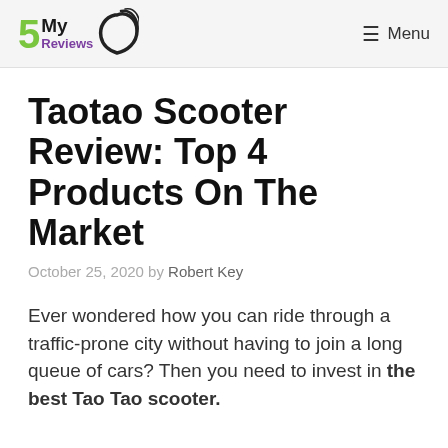5MyReviews — Menu
Taotao Scooter Review: Top 4 Products On The Market
October 25, 2020 by Robert Key
Ever wondered how you can ride through a traffic-prone city without having to join a long queue of cars? Then you need to invest in the best Tao Tao scooter.